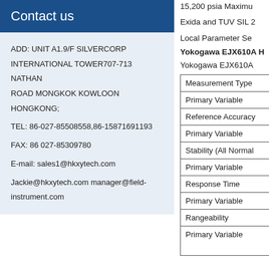Contact us
ADD: UNIT A1.9/F SILVERCORP INTERNATIONAL TOWER707-713 NATHAN ROAD MONGKOK KOWLOON HONGKONG;
TEL: 86-027-85508558,86-15871691193
FAX: 86 027-85309780
E-mail: sales1@hkxytech.com
Jackie@hkxytech.com manager@field-instrument.com
15,200 psia Maximum
Exida and TUV SIL 2
Local Parameter Se
Yokogawa EJX610A H
Yokogawa EJX610A
| Measurement Type |
| Primary Variable |
| Reference Accuracy |
| Primary Variable |
| Stability (All Normal |
| Primary Variable |
| Response Time |
| Primary Variable |
| Rangeability |
| Primary Variable |